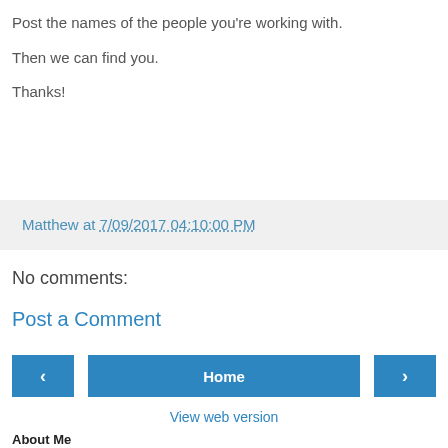Post the names of the people you're working with.

Then we can find you.

Thanks!
Matthew at 7/09/2017 04:10:00 PM
No comments:
Post a Comment
Home
View web version
About Me